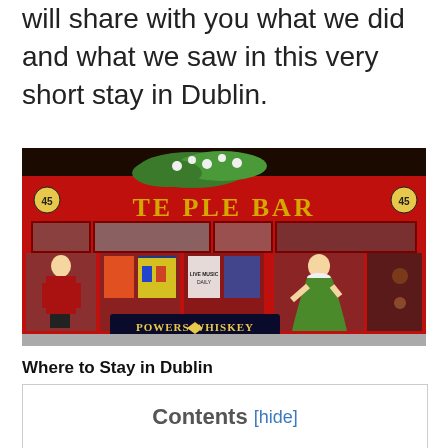will share with you what we did and what we saw in this very short stay in Dublin.
[Figure (photo): Photograph of the Temple Bar pub facade in Dublin, Ireland. The front is bright red with gold lettering reading 'TEMPLE BAR'. Decorative painted figures of historical characters are visible in the windows. A Powers Whiskey sign is displayed in the lower center. Hanging plants with white flowers adorn the top.]
Where to Stay in Dublin
Contents [hide]